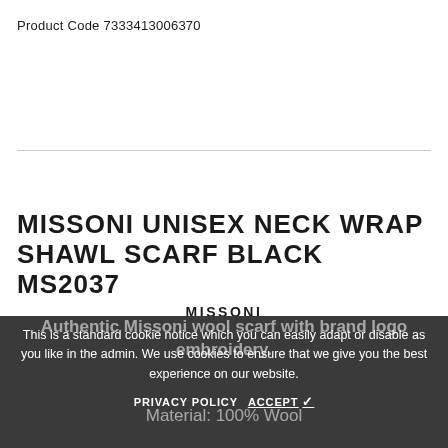Product Code 7333413006370
MISSONI UNISEX NECK WRAP SHAWL SCARF BLACK MS2037
MISSONI
This is a standard cookie notice which you can easily adapt or disable as you like in the admin. We use cookies to ensure that we give you the best experience on our website.
Authentic Missoni wool scarf with brand logo embroidery.
PRIVACY POLICY   ACCEPT ✓
Material: 100% Wool